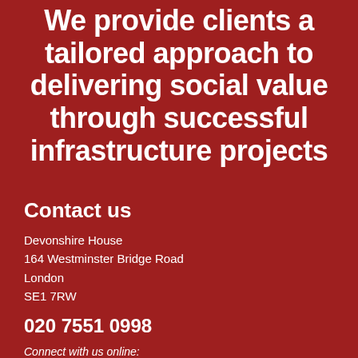We provide clients a tailored approach to delivering social value through successful infrastructure projects
Contact us
Devonshire House
164 Westminster Bridge Road
London
SE1 7RW
020 7551 0998
Connect with us online:
[Figure (other): Social media icons: Twitter/X, LinkedIn, Instagram]